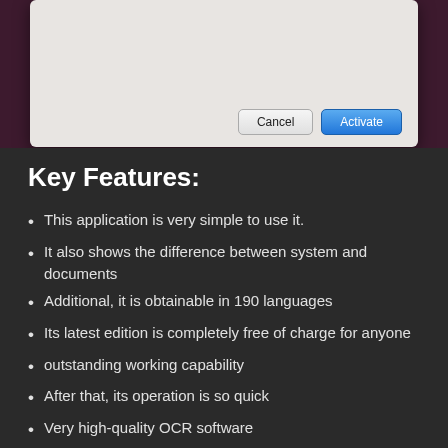[Figure (screenshot): macOS dialog box with Cancel and Activate buttons over a dark pink/maroon background photo]
Key Features:
This application is very simple to use it.
It also shows the difference between system and documents
Additional, it is obtainable in 190 languages
Its latest edition is completely free of charge for anyone
outstanding working capability
After that, its operation is so quick
Very high-quality OCR software
This program is also used for scanning and editing purpose